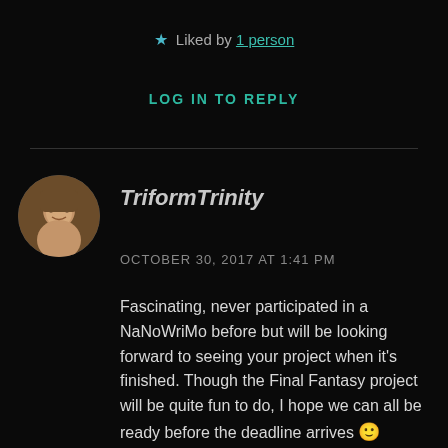★ Liked by 1 person
LOG IN TO REPLY
TriformTrinity
OCTOBER 30, 2017 AT 1:41 PM
Fascinating, never participated in a NaNoWriMo before but will be looking forward to seeing your project when it's finished. Though the Final Fantasy project will be quite fun to do, I hope we can all be ready before the deadline arrives 🙂